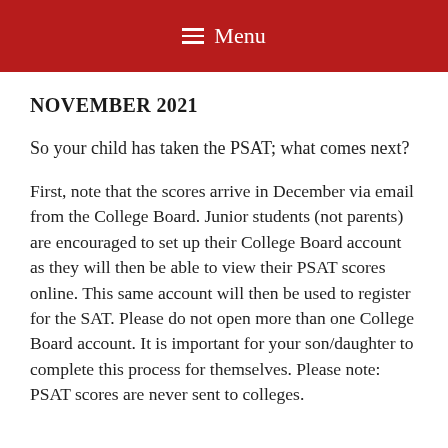Menu
NOVEMBER 2021
So your child has taken the PSAT; what comes next?
First, note that the scores arrive in December via email from the College Board. Junior students (not parents) are encouraged to set up their College Board account as they will then be able to view their PSAT scores online. This same account will then be used to register for the SAT. Please do not open more than one College Board account. It is important for your son/daughter to complete this process for themselves. Please note: PSAT scores are never sent to colleges.